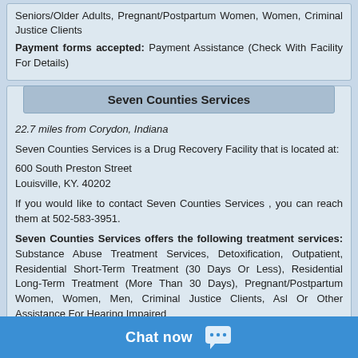Seniors/Older Adults, Pregnant/Postpartum Women, Women, Criminal Justice Clients
Payment forms accepted: Payment Assistance (Check With Facility For Details)
Seven Counties Services
22.7 miles from Corydon, Indiana
Seven Counties Services is a Drug Recovery Facility that is located at:

600 South Preston Street
Louisville, KY. 40202

If you would like to contact Seven Counties Services , you can reach them at 502-583-3951.

Seven Counties Services offers the following treatment services: Substance Abuse Treatment Services, Detoxification, Outpatient, Residential Short-Term Treatment (30 Days Or Less), Residential Long-Term Treatment (More Than 30 Days), Pregnant/Postpartum Women, Women, Men, Criminal Justice Clients, Asl Or Other Assistance For Hearing Impaired
Payment forms accepted: Health Insurance